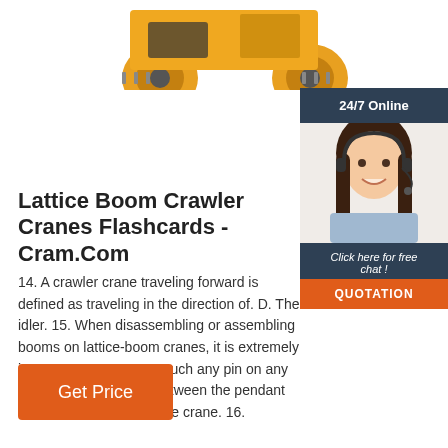[Figure (photo): Partial view of a yellow construction crane/loader showing wheels and undercarriage against white background]
[Figure (photo): 24/7 Online support widget showing a woman with headset and 'Click here for free chat!' text with a QUOTATION button]
Lattice Boom Crawler Cranes Flashcards - Cram.Com
14. A crawler crane traveling forward is defined as traveling in the direction of. D. The idler. 15. When disassembling or assembling booms on lattice-boom cranes, it is extremely important to. D. Never touch any pin on any boom section located between the pendant attachment points and the crane. 16.
Get Price